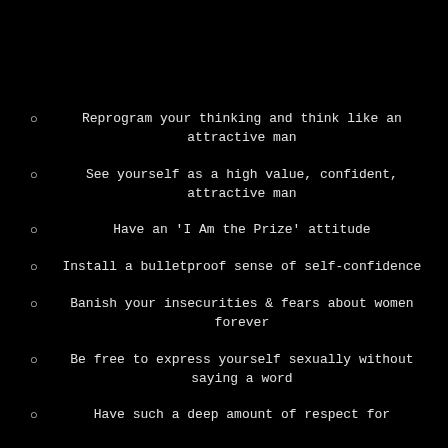Reprogram your thinking and think like an attractive man
See yourself as a high value, confident, attractive man
Have an 'I Am the Prize' attitude
Install a bulletproof sense of self-confidence
Banish your insecurities & fears about women forever
Be free to express yourself sexually without saying a word
Have such a deep amount of respect for